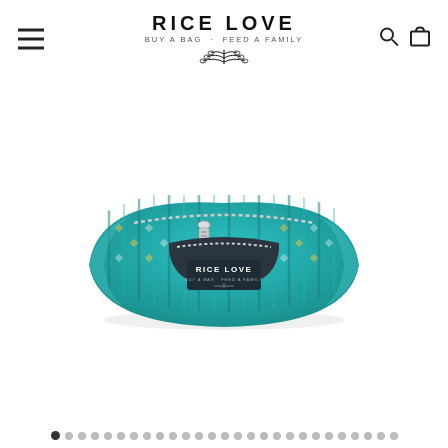RICE LOVE — BUY A BAG · FEED A FAMILY
[Figure (photo): A teal/turquoise patterned fanny pack (belt bag) with ethnic/tribal print, featuring a front zipper pocket with the Rice Love logo label. The bag has a dark front pocket and a curved crescent shape.]